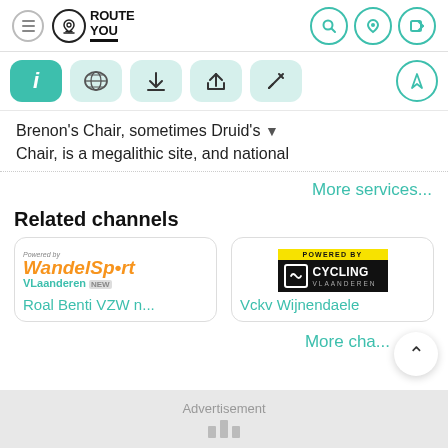RouteYou
[Figure (screenshot): Toolbar with info, globe, download, upload/bookmark, and edit icon buttons; navigation arrow button on right]
Brenon's Chair, sometimes Druid's Chair, is a megalithic site, and national
More services...
Related channels
[Figure (logo): WandelSport Vlaanderen logo - Powered by WandelSport Vlaanderen NEW]
Roal Benti VZW n...
[Figure (logo): Cycling Vlaanderen logo - POWERED BY CYCLING VLAANDEREN]
Vckv Wijnendaele
More cha...
Advertisement